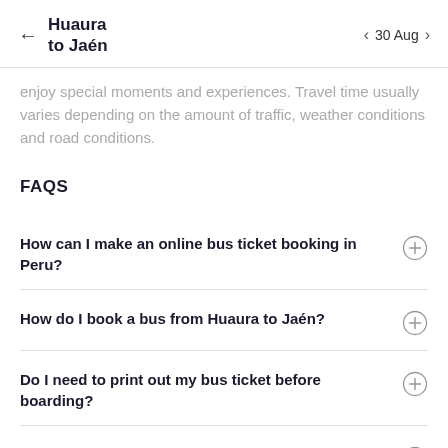← Huaura to Jaén   < 30 Aug >
enjoy special moments and experiences. Travel time usually varies depending on the amount of traffic, weather conditions and road conditions.
FAQS
How can I make an online bus ticket booking in Peru?
How do I book a bus from Huaura to Jaén?
Do I need to print out my bus ticket before boarding?
Can I reschedule my journey after I have booked